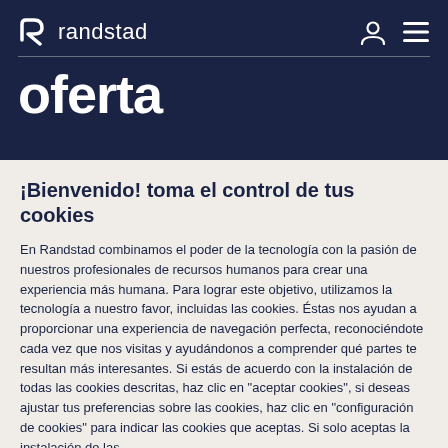randstad
oferta
¡Bienvenido! toma el control de tus cookies
En Randstad combinamos el poder de la tecnología con la pasión de nuestros profesionales de recursos humanos para crear una experiencia más humana. Para lograr este objetivo, utilizamos la tecnología a nuestro favor, incluidas las cookies. Éstas nos ayudan a proporcionar una experiencia de navegación perfecta, reconociéndote cada vez que nos visitas y ayudándonos a comprender qué partes te resultan más interesantes. Si estás de acuerdo con la instalación de todas las cookies descritas, haz clic en "aceptar cookies", si deseas ajustar tus preferencias sobre las cookies, haz clic en "configuración de cookies" para indicar las cookies que aceptas. Si solo aceptas la instalación de las